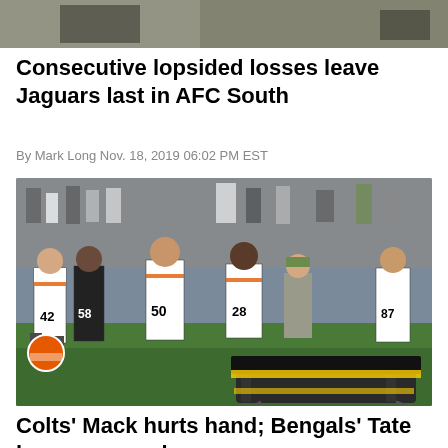[Figure (photo): Partial top image of sports content, cropped at top of page]
Consecutive lopsided losses leave Jaguars last in AFC South
By Mark Long Nov. 18, 2019 06:02 PM EST
[Figure (photo): Cincinnati Bengals players in white and orange uniforms with numbers 42, 58, 50, 28, 87 standing on sideline watching a stretcher being wheeled by a trainer in camouflage hat, with crowd in background]
Colts' Mack hurts hand; Bengals' Tate has scary neck